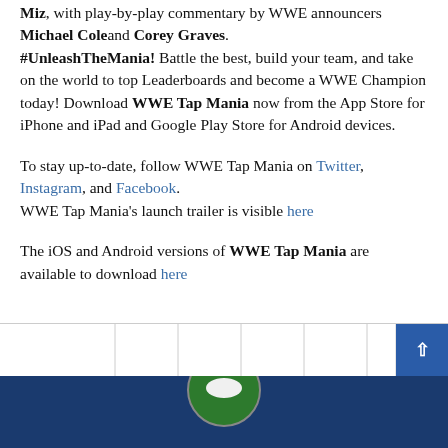Miz, with play-by-play commentary by WWE announcers Michael Cole and Corey Graves. #UnleashTheMania! Battle the best, build your team, and take on the world to top Leaderboards and become a WWE Champion today! Download WWE Tap Mania now from the App Store for iPhone and iPad and Google Play Store for Android devices.
To stay up-to-date, follow WWE Tap Mania on Twitter, Instagram, and Facebook. WWE Tap Mania's launch trailer is visible here
The iOS and Android versions of WWE Tap Mania are available to download here
[Figure (illustration): Partial circular logo/image visible at the bottom of the page against a dark navy footer bar]